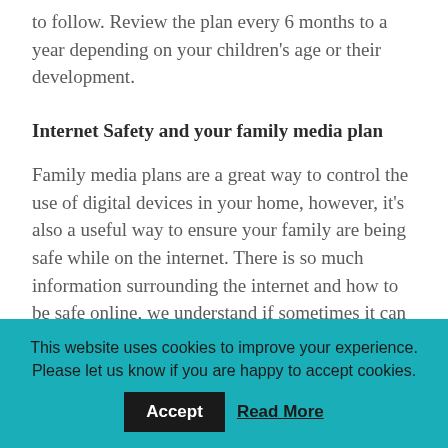to follow. Review the plan every 6 months to a year depending on your children's age or their development.
Internet Safety and your family media plan
Family media plans are a great way to control the use of digital devices in your home, however, it's also a useful way to ensure your family are being safe while on the internet. There is so much information surrounding the internet and how to be safe online, we understand if sometimes it can be overwhelming. Zeeko
This website uses cookies to improve your experience. Please let us know if you are happy to accept cookies.
Accept
Read More